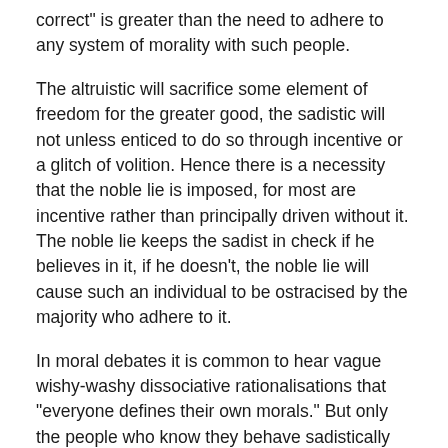correct" is greater than the need to adhere to any system of morality with such people.
The altruistic will sacrifice some element of freedom for the greater good, the sadistic will not unless enticed to do so through incentive or a glitch of volition. Hence there is a necessity that the noble lie is imposed, for most are incentive rather than principally driven without it. The noble lie keeps the sadist in check if he believes in it, if he doesn't, the noble lie will cause such an individual to be ostracised by the majority who adhere to it.
In moral debates it is common to hear vague wishy-washy dissociative rationalisations that "everyone defines their own morals." But only the people who know they behave sadistically care enough to debate the amoral root of immoral action. It's as I said in my previous article on morality, just because cosmic mathematics and survival of the fittest are amoral, it does not mean the average man does not have a